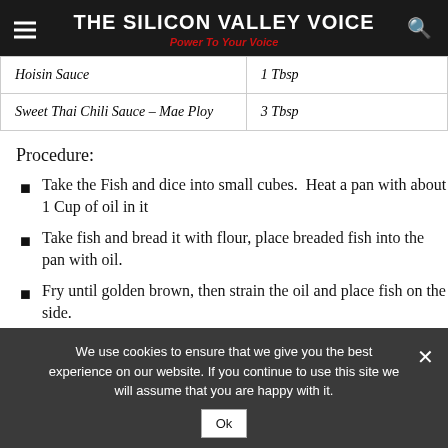THE SILICON VALLEY VOICE
Power To Your Voice
| Hoisin Sauce | 1 Tbsp |
| Sweet Thai Chili Sauce – Mae Ploy | 3 Tbsp |
Procedure:
Take the Fish and dice into small cubes.  Heat a pan with about 1 Cup of oil in it
Take fish and bread it with flour, place breaded fish into the pan with oil.
Fry until golden brown, then strain the oil and place fish on the side.
We use cookies to ensure that we give you the best experience on our website. If you continue to use this site we will assume that you are happy with it.